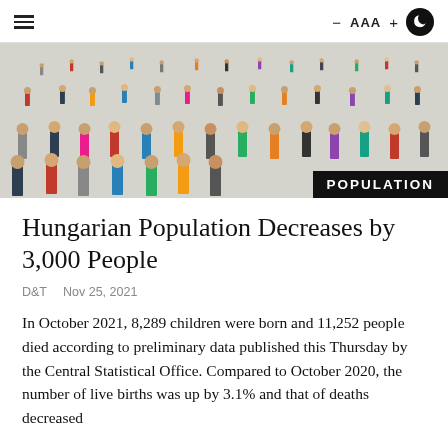≡  — AAA +  🌙
[Figure (photo): Crowd of miniature human figurines standing on a white surface, viewed from above at an angle. A black banner in the bottom right reads POPULATION.]
Hungarian Population Decreases by 3,000 People
D&T   Nov 25, 2021
In October 2021, 8,289 children were born and 11,252 people died according to preliminary data published this Thursday by the Central Statistical Office. Compared to October 2020, the number of live births was up by 3.1% and that of deaths decreased